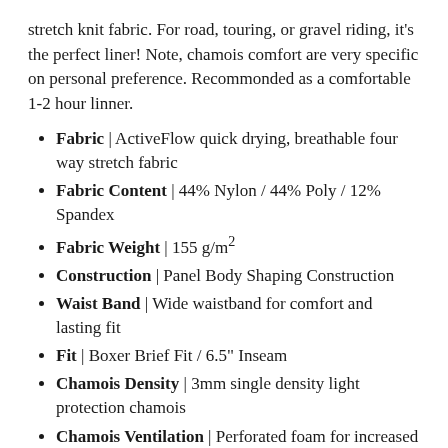stretch knit fabric. For road, touring, or gravel riding, it's the perfect liner! Note, chamois comfort are very specific on personal preference. Recommonded as a comfortable 1-2 hour linner.
Fabric | ActiveFlow quick drying, breathable four way stretch fabric
Fabric Content | 44% Nylon / 44% Poly / 12% Spandex
Fabric Weight | 155 g/m²
Construction | Panel Body Shaping Construction
Waist Band | Wide waistband for comfort and lasting fit
Fit | Boxer Brief Fit / 6.5" Inseam
Chamois Density | 3mm single density light protection chamois
Chamois Ventilation | Perforated foam for increased ventilation and quick dry
Size: